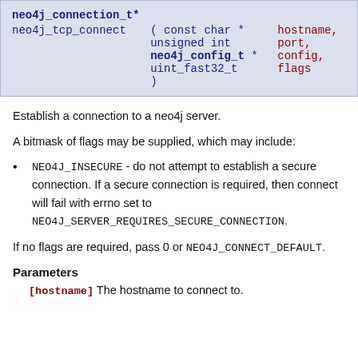neo4j_connection_t*
neo4j_tcp_connect ( const char * hostname, unsigned int port, neo4j_config_t * config, uint_fast32_t flags )
Establish a connection to a neo4j server.
A bitmask of flags may be supplied, which may include:
NEO4J_INSECURE - do not attempt to establish a secure connection. If a secure connection is required, then connect will fail with errno set to NEO4J_SERVER_REQUIRES_SECURE_CONNECTION.
If no flags are required, pass 0 or NEO4J_CONNECT_DEFAULT.
Parameters
[hostname] The hostname to connect to.